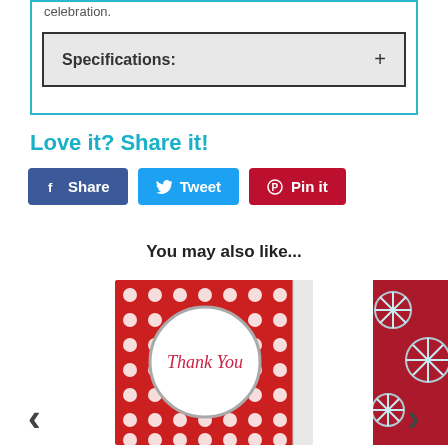celebration.
Specifications: +
Love it? Share it!
[Figure (screenshot): Social sharing buttons: Share (Facebook, blue), Tweet (Twitter, light blue), Pin it (Pinterest, red)]
You may also like...
[Figure (photo): Red polka dot Thank You card with white circle in center containing cursive 'Thank You' text in red]
[Figure (photo): Partial view of a red and teal snowflake Christmas themed card]